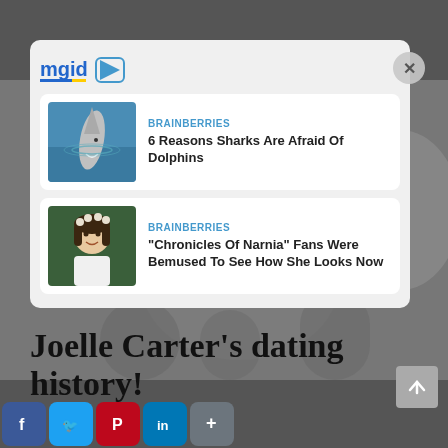[Figure (screenshot): Dark black and white background photo showing group of people, partially visible behind a white popup overlay]
[Figure (logo): mgid logo with blue text, yellow/blue underline, and a play button icon]
[Figure (photo): Thumbnail image of a shark jumping out of ocean water]
BRAINBERRIES
6 Reasons Sharks Are Afraid Of Dolphins
[Figure (photo): Thumbnail image of a young girl with dark hair wearing a white dress and floral headpiece]
BRAINBERRIES
"Chronicles Of Narnia" Fans Were Bemused To See How She Looks Now
Joelle Carter's dating history!
[Figure (infographic): Social share bar with Facebook, Twitter, Pinterest, LinkedIn, and More buttons]